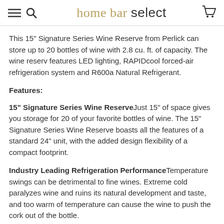home bar select
This 15" Signature Series Wine Reserve from Perlick can store up to 20 bottles of wine with 2.8 cu. ft. of capacity. The wine reserv features LED lighting, RAPIDcool forced-air refrigeration system and R600a Natural Refrigerant.
Features:
15" Signature Series Wine Reserve Just 15" of space gives you storage for 20 of your favorite bottles of wine. The 15" Signature Series Wine Reserve boasts all the features of a standard 24" unit, with the added design flexibility of a compact footprint.
Industry Leading Refrigeration Performance Temperature swings can be detrimental to fine wines. Extreme cold paralyzes wine and ruins its natural development and taste, and too warm of temperature can cause the wine to push the cork out of the bottle.